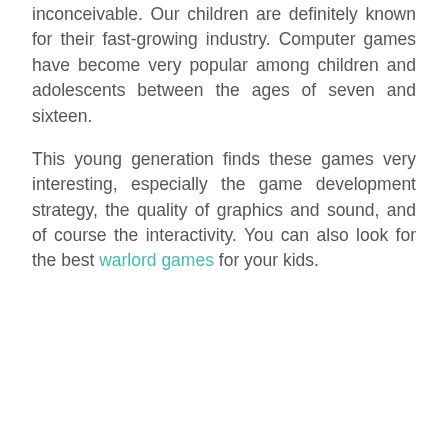inconceivable. Our children are definitely known for their fast-growing industry. Computer games have become very popular among children and adolescents between the ages of seven and sixteen.
This young generation finds these games very interesting, especially the game development strategy, the quality of graphics and sound, and of course the interactivity. You can also look for the best warlord games for your kids.